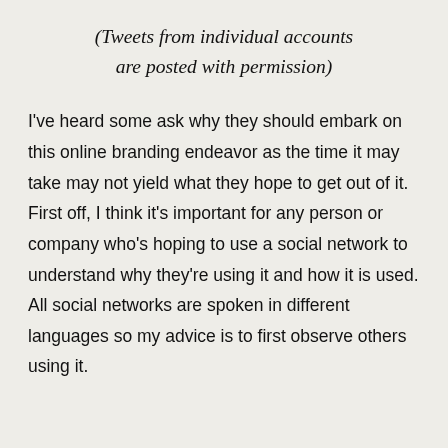(Tweets from individual accounts are posted with permission)
I've heard some ask why they should embark on this online branding endeavor as the time it may take may not yield what they hope to get out of it. First off, I think it's important for any person or company who's hoping to use a social network to understand why they're using it and how it is used. All social networks are spoken in different languages so my advice is to first observe others using it.